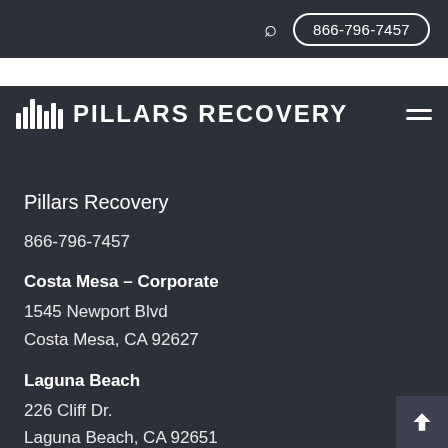866-796-7457
[Figure (logo): Pillars Recovery logo — vertical bars icon followed by PILLARS RECOVERY text in bold uppercase, with hamburger menu icon on right]
Pillars Recovery
866-796-7457
Costa Mesa – Corporate
1545 Newport Blvd
Costa Mesa, CA 92627
Laguna Beach
226 Cliff Dr.
Laguna Beach, CA 92651